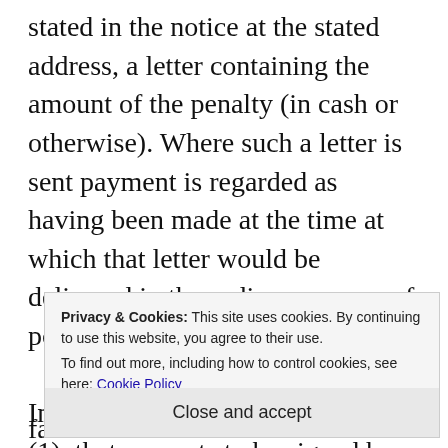stated in the notice at the stated address, a letter containing the amount of the penalty (in cash or otherwise). Where such a letter is sent payment is regarded as having been made at the time at which that letter would be delivered in the ordinary course of post.

In any proceedings, a certificate (1)  that purports to be signed by or on behalf of the chief f...
Privacy & Cookies: This site uses cookies. By continuing to use this website, you agree to their use.
To find out more, including how to control cookies, see here: Cookie Policy
Close and accept
facts stated. A  chief finance officer , in relation